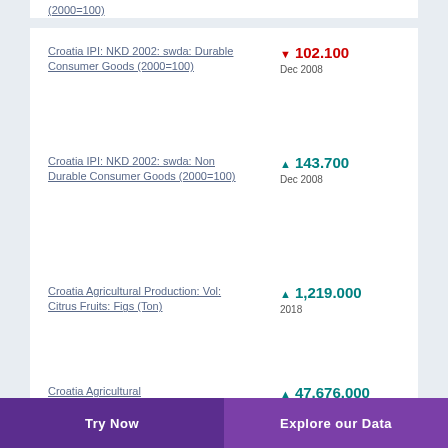(2000=100)
Croatia IPI: NKD 2002: swda: Durable Consumer Goods (2000=100) ▼ 102.100 Dec 2008
Croatia IPI: NKD 2002: swda: Non Durable Consumer Goods (2000=100) ▲ 143.700 Dec 2008
Croatia Agricultural Production: Vol: Citrus Fruits: Figs (Ton) ▲ 1,219.000 2018
Croatia Agricultural ▲ 47,676.000
Try Now | Explore our Data